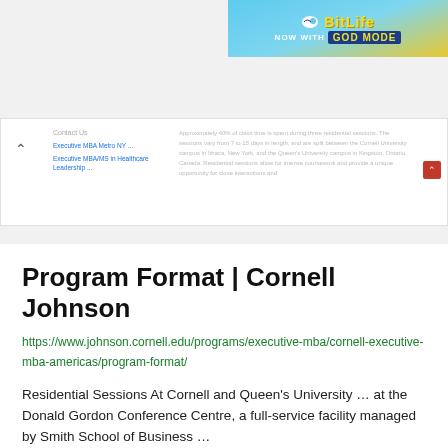[Figure (screenshot): BitLife app advertisement banner with 'NOW WITH GOD MODE' text on colorful background]
[Figure (screenshot): Browser navigation dropdown showing Cornell Johnson Executive MBA menu links and partial text about residential sessions]
Program Format | Cornell Johnson
https://www.johnson.cornell.edu/programs/executive-mba/cornell-executive-mba-americas/program-format/
Residential Sessions At Cornell and Queen's University … at the Donald Gordon Conference Centre, a full-service facility managed by Smith School of Business …